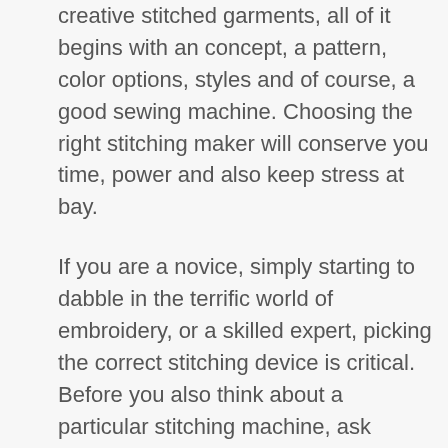creative stitched garments, all of it begins with an concept, a pattern, color options, styles and of course, a good sewing machine. Choosing the right stitching maker will conserve you time, power and also keep stress at bay.
If you are a novice, simply starting to dabble in the terrific world of embroidery, or a skilled expert, picking the correct stitching device is critical. Before you also think about a particular stitching machine, ask yourself what type of drain you are or visualize to be?
Then you must choose what functions are necessary to you and also your cost variety. Knowing your demands